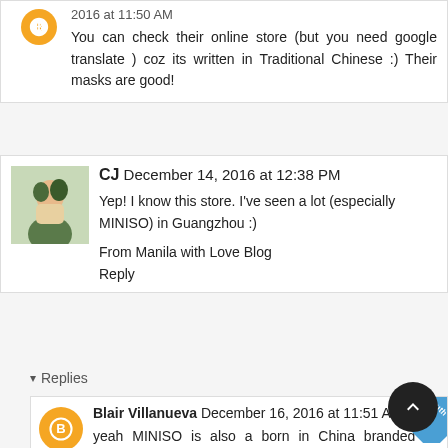2016 at 11:50 AM
You can check their online store (but you need google translate ) coz its written in Traditional Chinese :) Their masks are good!
[Figure (photo): Profile photo of CJ commenter]
CJ  December 14, 2016 at 12:38 PM
Yep! I know this store. I've seen a lot (especially MINISO) in Guangzhou :)
From Manila with Love Blog
Reply
▾ Replies
[Figure (logo): Orange Blogger B avatar icon]
Blair Villanueva  December 16, 2016 at 11:51 AM
yeah MINISO is also a born in China branded as Japanese :)